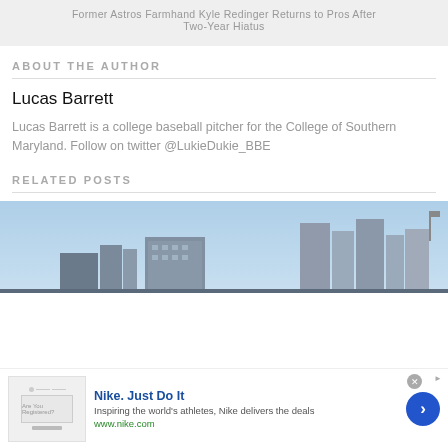Former Astros Farmhand Kyle Redinger Returns to Pros After Two-Year Hiatus
ABOUT THE AUTHOR
Lucas Barrett
Lucas Barrett is a college baseball pitcher for the College of Southern Maryland. Follow on twitter @LukieDukie_BBE
RELATED POSTS
[Figure (photo): City skyline with buildings against a blue sky]
[Figure (infographic): Nike advertisement banner: Nike. Just Do It. Inspiring the world's athletes, Nike delivers the deals. www.nike.com]